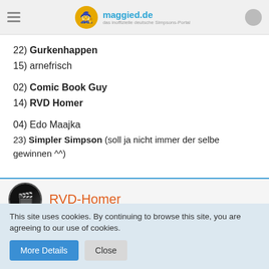maggied.de
22) Gurkenhappen
15) arnefrisch
02) Comic Book Guy
14) RVD Homer
04) Edo Maajka
23) Simpler Simpson (soll ja nicht immer der selbe gewinnen ^^)
RVD-Homer
Dec 9th 2008
This site uses cookies. By continuing to browse this site, you are agreeing to our use of cookies.